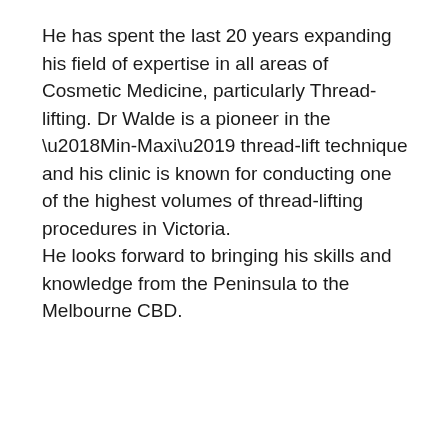He has spent the last 20 years expanding his field of expertise in all areas of Cosmetic Medicine, particularly Thread-lifting. Dr Walde is a pioneer in the ‘Min-Maxi’ thread-lift technique and his clinic is known for conducting one of the highest volumes of thread-lifting procedures in Victoria.
He looks forward to bringing his skills and knowledge from the Peninsula to the Melbourne CBD.